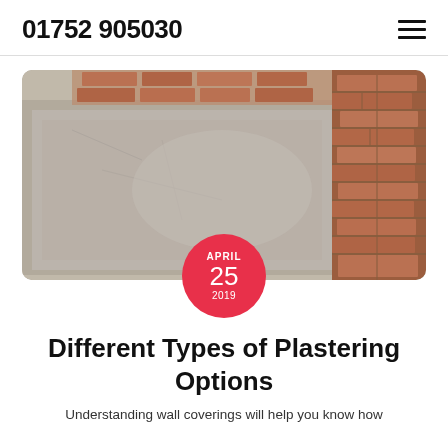01752 905030
[Figure (photo): A photograph showing a plastered wall surface — rough grey cement render/plaster covering the majority, with exposed red brick visible on the right side and top, showing crumbling and peeling plaster.]
APRIL 25 2019
Different Types of Plastering Options
Understanding wall coverings will help you know how